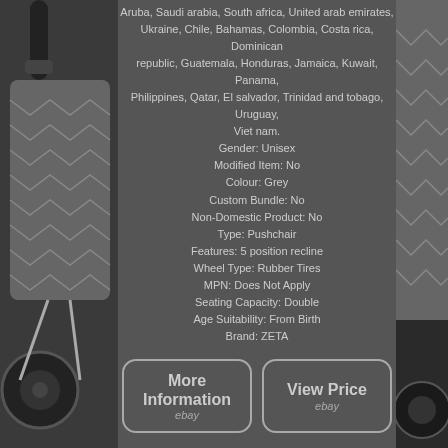[Figure (photo): Baby stroller/pushchair product photo on the left and right sides of the page, grey/black patterned fabric, rubber tires visible]
Aruba, Saudi arabia, South africa, United arab emirates, Ukraine, Chile, Bahamas, Colombia, Costa rica, Dominican republic, Guatemala, Honduras, Jamaica, Kuwait, Panama, Philippines, Qatar, El salvador, Trinidad and tobago, Uruguay, Viet nam. Gender: Unisex Modified Item: No Colour: Grey Custom Bundle: No Non-Domestic Product: No Type: Pushchair Features: 5 position recline Wheel Type: Rubber Tires MPN: Does Not Apply Seating Capacity: Double Age Suitability: From Birth Brand: ZETA
[Figure (screenshot): More Information button with eBay branding]
[Figure (screenshot): View Price button with eBay branding]
[Figure (screenshot): Facebook Like button]
[Figure (screenshot): Social sharing icons: Facebook, Twitter, Pinterest, Email]